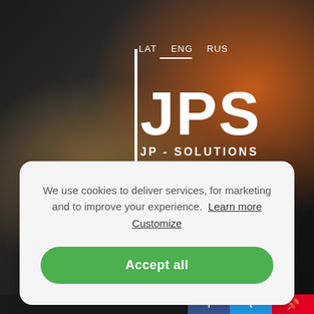[Figure (photo): Dark background photo showing climbing/safety equipment including carabiners and gear with an orange jacket visible]
LAT   ENG   RUS
JPS
JP - SOLUTIONS
We use cookies to deliver services, for marketing and to improve your experience.  Learn more  Customize
Accept all